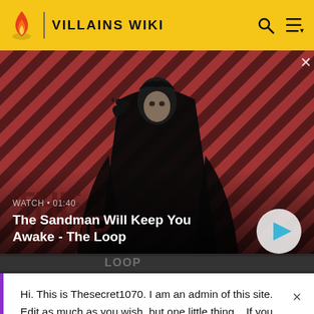VILLAINS WIKI
[Figure (screenshot): Video thumbnail of a dark-cloaked figure with a raven on his shoulder against a red diagonal-striped background. Title: The Sandman Will Keep You Awake - The Loop. Watch duration: 01:40.]
WATCH • 01:40
The Sandman Will Keep You Awake - The Loop
Hi. This is Thesecret1070. I am an admin of this site. Edit as much as you wish, but one little thing... If you are going to edit a lot, then make yourself a user and login. Other than that, enjoy Villains Wiki!!!